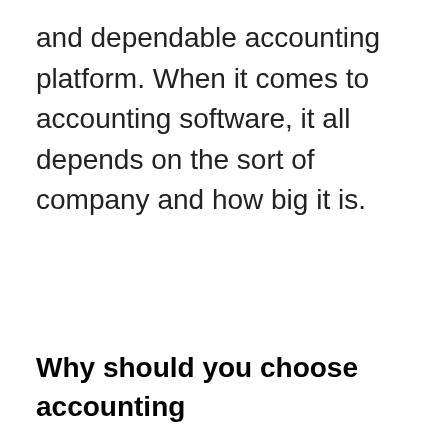and dependable accounting platform. When it comes to accounting software, it all depends on the sort of company and how big it is.
Why should you choose accounting